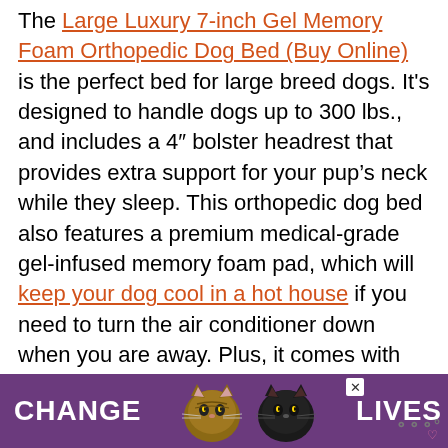The Large Luxury 7-inch Gel Memory Foam Orthopedic Dog Bed (Buy Online) is the perfect bed for large breed dogs. It's designed to handle dogs up to 300 lbs., and includes a 4" bolster headrest that provides extra support for your pup's neck while they sleep. This orthopedic dog bed also features a premium medical-grade gel-infused memory foam pad, which will keep your dog cool in a hot house if you need to turn the air conditioner down when you are away. Plus, it comes with an easy-to-clean removable microsuede cover that can be machine washed.
[Figure (other): Advertisement banner with purple background showing two cats and text 'CHANGE LIVES' with a close button and logo]